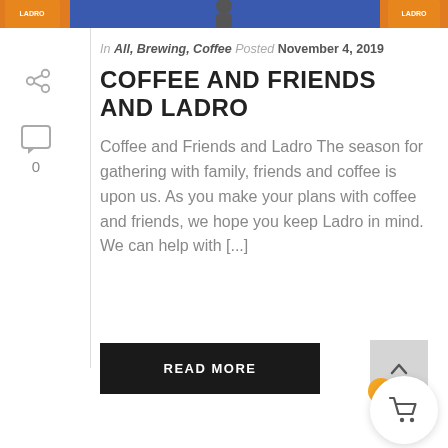[Figure (photo): Top banner with coffee product images on orange and blue background]
[Figure (illustration): Share icon (left sidebar)]
[Figure (illustration): Comment icon with count 0 (left sidebar)]
In All, Brewing, Coffee Posted November 4, 2019
COFFEE AND FRIENDS AND LADRO
Coffee and Friends and Ladro The season for gathering with family, friends and coffee is upon us. As you make your plans with coffee and friends, we hope you keep Ladro in mind. We can help with [...]
READ MORE
[Figure (illustration): Back to top arrow button (grey square with up caret)]
[Figure (illustration): Shopping cart button with orange badge showing 0]